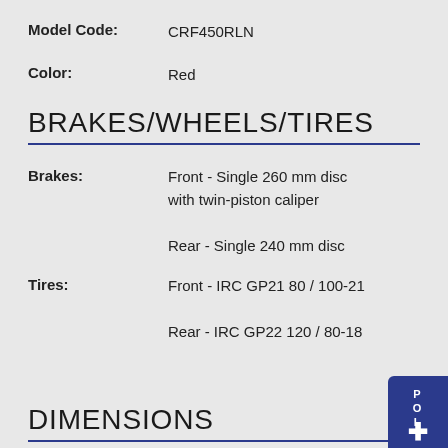Model Code: CRF450RLN
Color: Red
BRAKES/WHEELS/TIRES
Brakes: Front - Single 260 mm disc with twin-piston caliper
Brakes: Rear - Single 240 mm disc
Tires: Front - IRC GP21 80 / 100-21
Tires: Rear - IRC GP22 120 / 80-18
DIMENSIONS